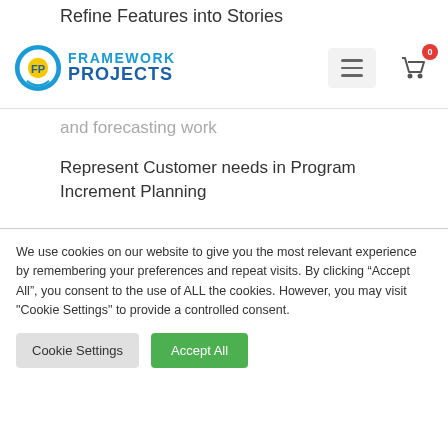Refine Features into Stories
[Figure (logo): Framework Projects logo with FP circular icon in blue/yellow and text 'FRAMEWORK PROJECTS' in blue]
and forecasting work
Represent Customer needs in Program Increment Planning
Execute the Program Increment and deliver continuous value
We use cookies on our website to give you the most relevant experience by remembering your preferences and repeat visits. By clicking “Accept All”, you consent to the use of ALL the cookies. However, you may visit "Cookie Settings" to provide a controlled consent.